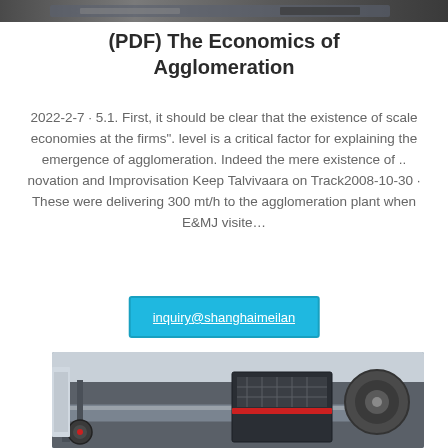[Figure (photo): Top portion of industrial machinery photo, cropped at top of page]
(PDF) The Economics of Agglomeration
2022-2-7 · 5.1. First, it should be clear that the existence of scale economies at the firms". level is a critical factor for explaining the emergence of agglomeration. Indeed the mere existence of .. novation and Improvisation Keep Talvivaara on Track2008-10-30 · These were delivering 300 mt/h to the agglomeration plant when E&MJ visite…
inquiry@shanghaimeilan
[Figure (photo): Industrial machinery — agglomeration plant equipment with black metal frame, red circular elements, and mechanical components]